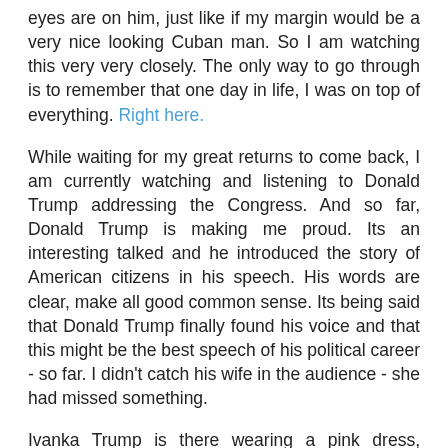eyes are on him, just like if my margin would be a very nice looking Cuban man. So I am watching this very very closely. The only way to go through is to remember that one day in life, I was on top of everything. Right here.
While waiting for my great returns to come back, I am currently watching and listening to Donald Trump addressing the Congress. And so far, Donald Trump is making me proud. Its an interesting talked and he introduced the story of American citizens in his speech. His words are clear, make all good common sense. Its being said that Donald Trump finally found his voice and that this might be the best speech of his political career - so far. I didn't catch his wife in the audience - she had missed something.
Ivanka Trump is there wearing a pink dress, probably of her brand, sitting right next to a woman who lost her husband at war. I think Ivanka Trump husband is sitting at her left. Trump is giving the speech the US nation was is need of. Tomorrow, I am pretty sure that stock markets a little bit around the world probably going to go up, just like I need it to be so I can be successful and really beat it up one more time. I am